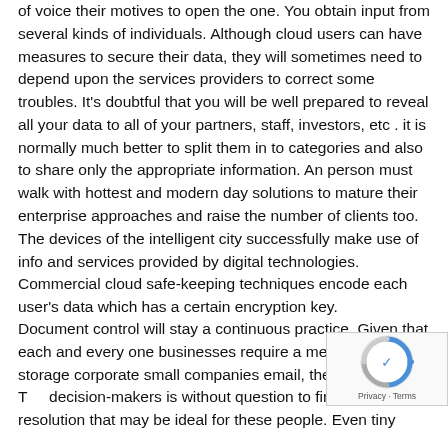of voice their motives to open the one. You obtain input from several kinds of individuals. Although cloud users can have measures to secure their data, they will sometimes need to depend upon the services providers to correct some troubles. It's doubtful that you will be well prepared to reveal all your data to all of your partners, staff, investors, etc . it is normally much better to split them in to categories and also to share only the appropriate information. An person must walk with hottest and modern day solutions to mature their enterprise approaches and raise the number of clients too. The devices of the intelligent city successfully make use of info and services provided by digital technologies. Commercial cloud safe-keeping techniques encode each user's data which has a certain encryption key.
Document control will stay a continuous practice. Given that each and every one businesses require a method of storage corporate small companies email, the challenge for The decision-makers is without question to find an email a resolution that may be ideal for these people. Even tiny
[Figure (other): reCAPTCHA badge with spinning logo and 'Privacy - Terms' text]